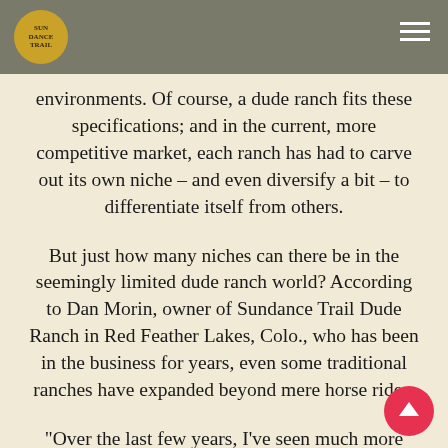Sundance Trail logo and navigation menu
environments. Of course, a dude ranch fits these specifications; and in the current, more competitive market, each ranch has had to carve out its own niche – and even diversify a bit – to differentiate itself from others.
But just how many niches can there be in the seemingly limited dude ranch world? According to Dan Morin, owner of Sundance Trail Dude Ranch in Red Feather Lakes, Colo., who has been in the business for years, even some traditional ranches have expanded beyond mere horse rides.
“Over the last few years, I’ve seen much more diversification,” Morin explains. “Twenty years ago, a dude ranch was a dude ranch. Now you’re finding